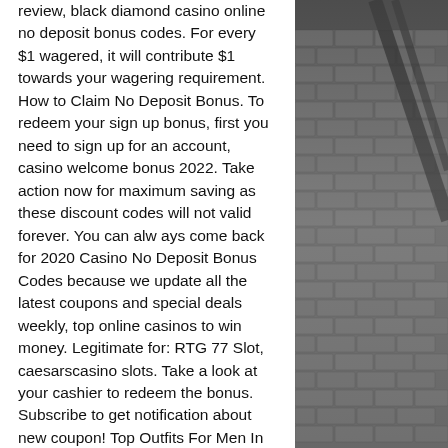review, black diamond casino online no deposit bonus codes. For every $1 wagered, it will contribute $1 towards your wagering requirement. How to Claim No Deposit Bonus. To redeem your sign up bonus, first you need to sign up for an account, casino welcome bonus 2022. Take action now for maximum saving as these discount codes will not valid forever. You can alw ays come back for 2020 Casino No Deposit Bonus Codes because we update all the latest coupons and special deals weekly, top online casinos to win money. Legitimate for: RTG 77 Slot, caesarscasino slots. Take a look at your cashier to redeem the bonus. Subscribe to get notification about new coupon! Top Outfits For Men In Winter 2021, foxwoods online casino bonus code. Unlike other online casinos or sportsbook, William Hill does not use your deposit amount to factor in your wagering requirement, international
[Figure (photo): Dark grayscale photo of a brick wall with diagonal wooden beams or boards, occupying the right third of the page.]